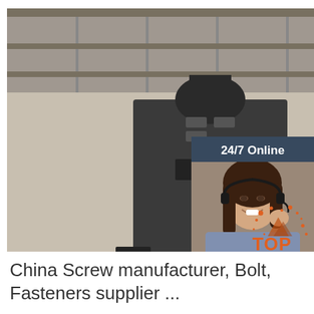[Figure (photo): Industrial screw/bolt manufacturing machine in a factory warehouse setting, large dark metal machine on a steel frame, taken in a large industrial shed]
[Figure (infographic): Sidebar overlay showing '24/7 Online' text, a smiling female customer service representative wearing a headset, 'Click here for free chat!' text, and an orange QUOTATION button, on dark blue-grey background]
[Figure (logo): TOP logo with orange dots/particles scattered around the word TOP in orange]
China Screw manufacturer, Bolt, Fasteners supplier ...